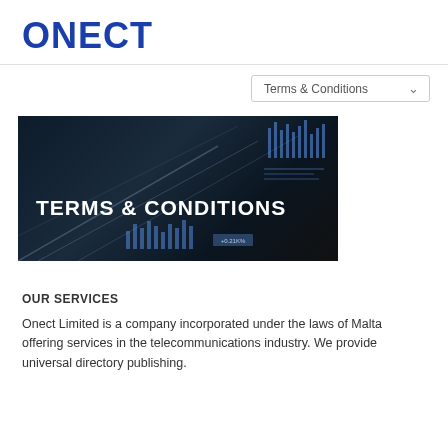ONECT
[Figure (screenshot): Navigation dropdown showing 'Terms & Conditions' with a chevron/arrow icon]
[Figure (photo): Dark banner image with diagonal light lines and data chart graphics, overlaid with bold white text reading 'TERMS & CONDITIONS']
OUR SERVICES
Onect Limited is a company incorporated under the laws of Malta offering services in the telecommunications industry. We provide universal directory publishing.